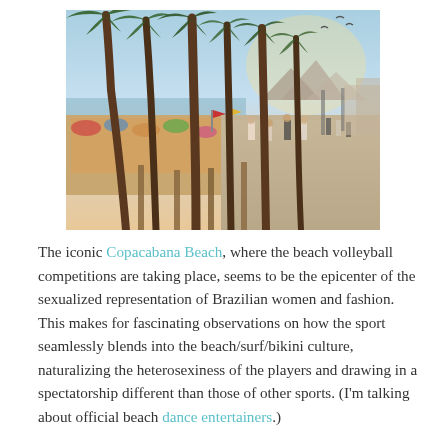[Figure (photo): Copacabana Beach scene with tall palm trees silhouetted against a hazy sky, a crowded sandy beach with people and colorful umbrellas on the left, and a wide promenade with pedestrians walking on the right. Mountains visible in the background.]
The iconic Copacabana Beach, where the beach volleyball competitions are taking place, seems to be the epicenter of the sexualized representation of Brazilian women and fashion. This makes for fascinating observations on how the sport seamlessly blends into the beach/surf/bikini culture, naturalizing the heterosexiness of the players and drawing in a spectatorship different than those of other sports. (I'm talking about official beach dance entertainers.)